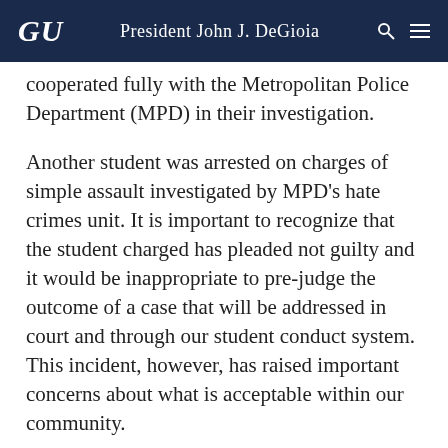GU | President John J. DeGioia
cooperated fully with the Metropolitan Police Department (MPD) in their investigation.
Another student was arrested on charges of simple assault investigated by MPD's hate crimes unit. It is important to recognize that the student charged has pleaded not guilty and it would be inappropriate to pre-judge the outcome of a case that will be addressed in court and through our student conduct system. This incident, however, has raised important concerns about what is acceptable within our community.
I will not tolerate homophobia or any other form of discrimination on our campus and believe that